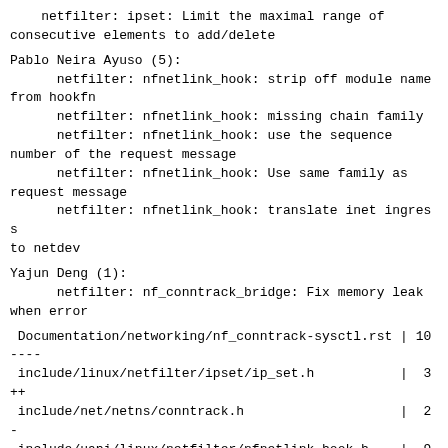netfilter: ipset: Limit the maximal range of consecutive elements to add/delete
Pablo Neira Ayuso (5):
    netfilter: nfnetlink_hook: strip off module name from hookfn
    netfilter: nfnetlink_hook: missing chain family
    netfilter: nfnetlink_hook: use the sequence number of the request message
    netfilter: nfnetlink_hook: Use same family as request message
    netfilter: nfnetlink_hook: translate inet ingress to netdev
Yajun Deng (1):
    netfilter: nf_conntrack_bridge: Fix memory leak when error
Documentation/networking/nf_conntrack-sysctl.rst | 10
----
 include/linux/netfilter/ipset/ip_set.h           |  3
++
 include/net/netns/conntrack.h                    |  2
-
 include/uapi/linux/netfilter/nfnetlink_hook.h    |  9
++++
 net/bridge/netfilter/nf_conntrack_bridge.c       |  6
+++
 net/netfilter/ipset/ip_set_hash_ip.c             |  9
+++-